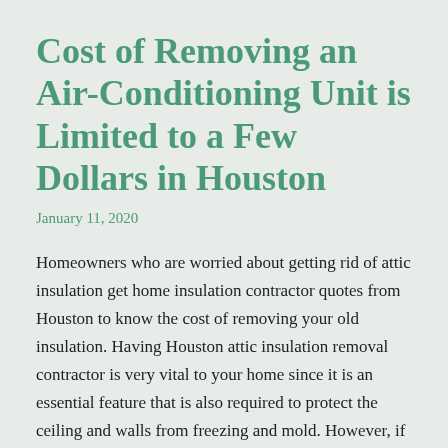Cost of Removing an Air-Conditioning Unit is Limited to a Few Dollars in Houston
January 11, 2020
Homeowners who are worried about getting rid of attic insulation get home insulation contractor quotes from Houston to know the cost of removing your old insulation. Having Houston attic insulation removal contractor is very vital to your home since it is an essential feature that is also required to protect the ceiling and walls from freezing and mold. However, if it is not done properly, then the damaging effects can